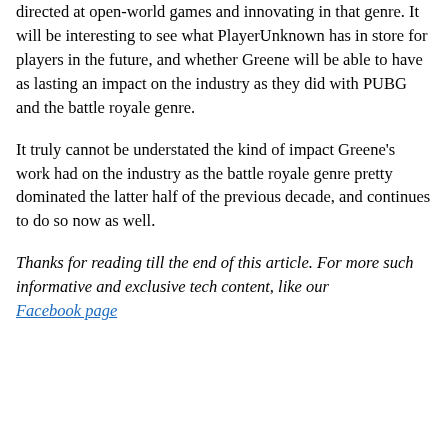directed at open-world games and innovating in that genre. It will be interesting to see what PlayerUnknown has in store for players in the future, and whether Greene will be able to have as lasting an impact on the industry as they did with PUBG and the battle royale genre.
It truly cannot be understated the kind of impact Greene's work had on the industry as the battle royale genre pretty dominated the latter half of the previous decade, and continues to do so now as well.
Thanks for reading till the end of this article. For more such informative and exclusive tech content, like our Facebook page